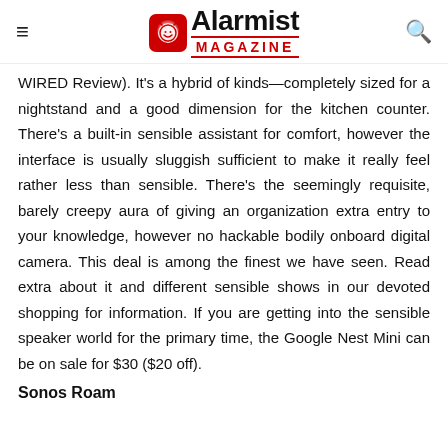Alarmist Magazine
WIRED Review). It's a hybrid of kinds—completely sized for a nightstand and a good dimension for the kitchen counter. There's a built-in sensible assistant for comfort, however the interface is usually sluggish sufficient to make it really feel rather less than sensible. There's the seemingly requisite, barely creepy aura of giving an organization extra entry to your knowledge, however no hackable bodily onboard digital camera. This deal is among the finest we have seen. Read extra about it and different sensible shows in our devoted shopping for information. If you are getting into the sensible speaker world for the primary time, the Google Nest Mini can be on sale for $30 ($20 off).
Sonos Roam